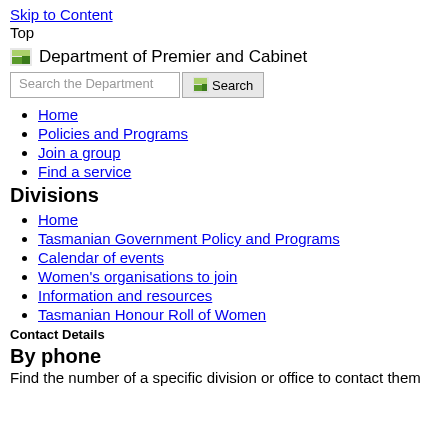Skip to Content
Top
[Figure (logo): Department of Premier and Cabinet logo with text]
[Figure (screenshot): Search input box with Search button]
Home
Policies and Programs
Join a group
Find a service
Divisions
Home
Tasmanian Government Policy and Programs
Calendar of events
Women's organisations to join
Information and resources
Tasmanian Honour Roll of Women
Contact Details
By phone
Find the number of a specific division or office to contact them